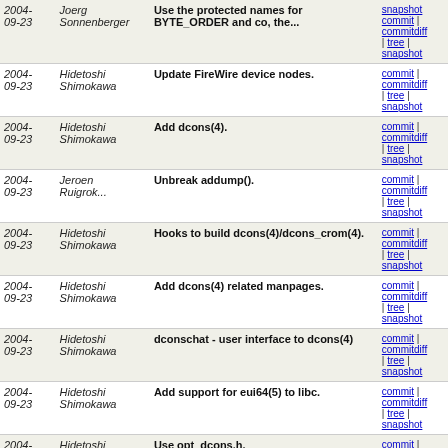| Date | Author | Message | Links |
| --- | --- | --- | --- |
| 2004-09-23 | Joerg Sonnenberger | Use the protected names for BYTE_ORDER and co, the... | commit | commitdiff | tree | snapshot |
| 2004-09-23 | Hidetoshi Shimokawa | Update FireWire device nodes. | commit | commitdiff | tree | snapshot |
| 2004-09-23 | Hidetoshi Shimokawa | Add dcons(4). | commit | commitdiff | tree | snapshot |
| 2004-09-23 | Jeroen Ruigrok... | Unbreak addump(). | commit | commitdiff | tree | snapshot |
| 2004-09-23 | Hidetoshi Shimokawa | Hooks to build dcons(4)/dcons_crom(4). | commit | commitdiff | tree | snapshot |
| 2004-09-23 | Hidetoshi Shimokawa | Add dcons(4) related manpages. | commit | commitdiff | tree | snapshot |
| 2004-09-23 | Hidetoshi Shimokawa | dconschat - user interface to dcons(4) | commit | commitdiff | tree | snapshot |
| 2004-09-23 | Hidetoshi Shimokawa | Add support for eui64(5) to libc. | commit | commitdiff | tree | snapshot |
| 2004-09-23 | Hidetoshi Shimokawa | Use opt_dcons.h. | commit | commitdiff | tree | snapshot |
| 2004-09-23 | Hidetoshi Shimokawa | Add dcons(4), a pseudo console driver for FireWire... | commit | commitdiff | tree | snapshot |